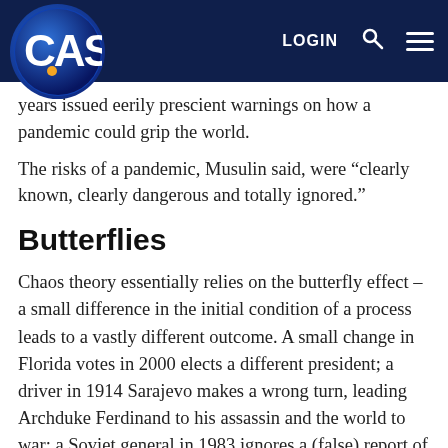CAS logo | LOGIN | [search icon] | [menu icon]
years issued eerily prescient warnings on how a pandemic could grip the world.
The risks of a pandemic, Musulin said, were “clearly known, clearly dangerous and totally ignored.”
Butterflies
Chaos theory essentially relies on the butterfly effect – a small difference in the initial condition of a process leads to a vastly different outcome. A small change in Florida votes in 2000 elects a different president; a driver in 1914 Sarajevo makes a wrong turn, leading Archduke Ferdinand to his assassin and the world to war; a Soviet general in 1983 ignores a (false) report of incoming missiles and prevents an accidental nuclear holocaust.